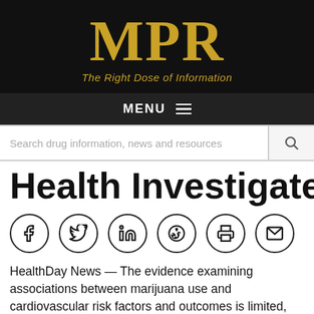[Figure (logo): MPR logo with tagline 'The Right Dose of Information' on black background]
MENU
Search drug information, news and resources
Health Investigated
[Figure (infographic): Social share icons: Facebook, Twitter, LinkedIn, Reddit, Print, Email]
HealthDay News — The evidence examining associations between marijuana use and cardiovascular risk factors and outcomes is limited, according to a review published online